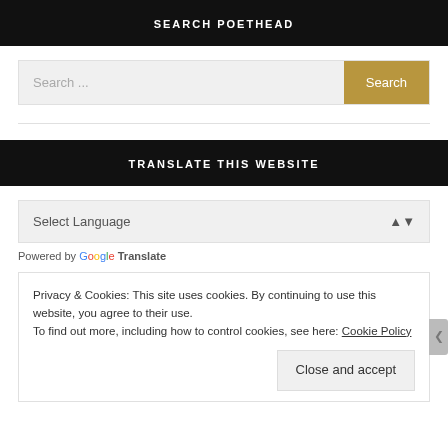SEARCH POETHEAD
Search ...
Search
TRANSLATE THIS WEBSITE
Select Language
Powered by Google Translate
Privacy & Cookies: This site uses cookies. By continuing to use this website, you agree to their use.
To find out more, including how to control cookies, see here: Cookie Policy
Close and accept